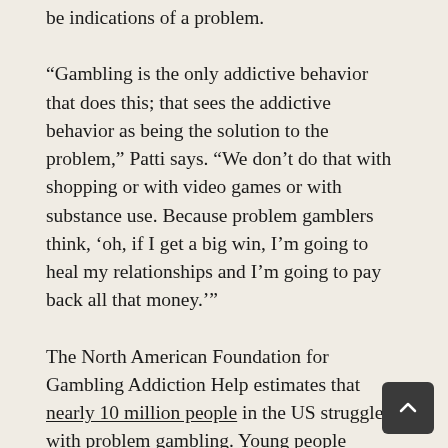be indications of a problem.
“Gambling is the only addictive behavior that does this; that sees the addictive behavior as being the solution to the problem,” Patti says. “We don’t do that with shopping or with video games or with substance use. Because problem gamblers think, ‘oh, if I get a big win, I’m going to heal my relationships and I’m going to pay back all that money.’”
The North American Foundation for Gambling Addiction Help estimates that nearly 10 million people in the US struggle with problem gambling. Young people between the ages of 16-24 years old are the most likely to have a problem, followed by those ages 25-34. It’s a lucrative